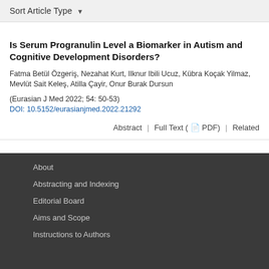Sort Article Type ▾
Is Serum Progranulin Level a Biomarker in Autism and Cognitive Development Disorders?
Fatma Betül Özgeriş, Nezahat Kurt, Ilknur Ibili Ucuz, Kübra Koçak Yilmaz, Mevlüt Sait Keleş, Atilla Çayir, Onur Burak Dursun
(Eurasian J Med 2022; 54: 50-53)
DOI: 10.5152/eurasianjmed.2022.21292
Abstract  |  Full Text ( PDF)  |  Related
About
Abstracting and Indexing
Editorial Board
Aims and Scope
Instructions to Authors